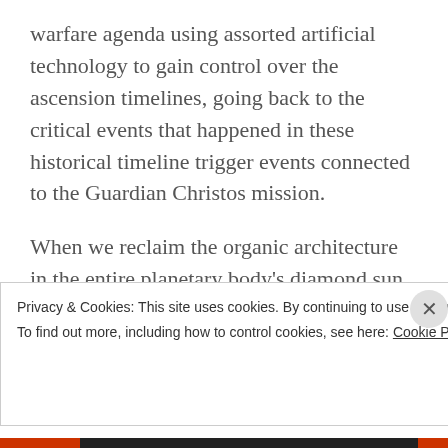warfare agenda using assorted artificial technology to gain control over the ascension timelines, going back to the critical events that happened in these historical timeline trigger events connected to the Guardian Christos mission.

When we reclaim the organic architecture in the entire planetary body's diamond sun template, the NAA lose territorial control as the timelines shift, collapsing artificial timelines and sections of the
Privacy & Cookies: This site uses cookies. By continuing to use this website, you agree to their use.
To find out more, including how to control cookies, see here: Cookie Policy